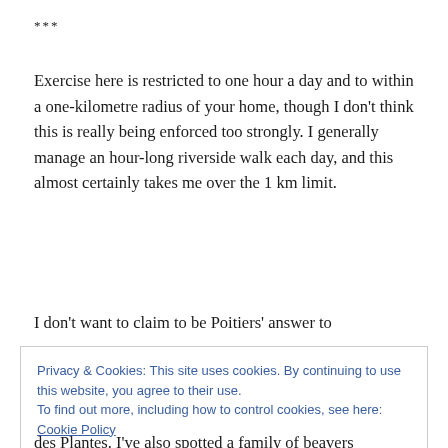***
Exercise here is restricted to one hour a day and to within a one-kilometre radius of your home, though I don't think this is really being enforced too strongly. I generally manage an hour-long riverside walk each day, and this almost certainly takes me over the 1 km limit.
I don't want to claim to be Poitiers' answer to
Privacy & Cookies: This site uses cookies. By continuing to use this website, you agree to their use.
To find out more, including how to control cookies, see here: Cookie Policy
des Plantes. I've also spotted a family of beavers